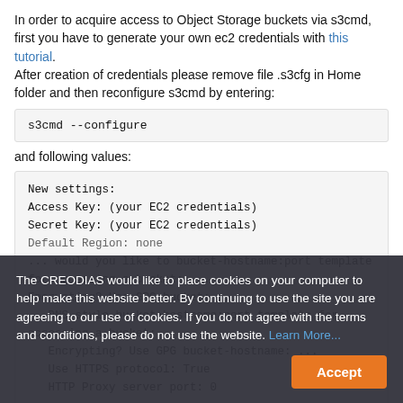In order to acquire access to Object Storage buckets via s3cmd, first you have to generate your own ec2 credentials with this tutorial. After creation of credentials please remove file .s3cfg in Home folder and then reconfigure s3cmd by entering:
s3cmd --configure
and following values:
New settings:
Access Key: (your EC2 credentials)
Secret Key: (your EC2 credentials)
Default Region: none
...
DNS-style bucket+hostname:port template for accessing a bucket: ...
Encrypting? Use GPG program: ...
Use HTTPS protocol: True
...
HTTP Proxy server port: 0
The CREODIAS would like to place cookies on your computer to help make this website better. By continuing to use the site you are agreeing to our use of cookies. If you do not agree with the terms and conditions, please do not use the website. Learn More... Accept